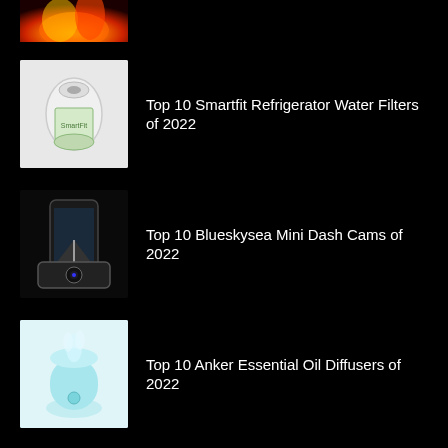[Figure (photo): Partial fire/flame image at top of page, cropped]
[Figure (photo): Smartfit refrigerator water filter product image on white background]
Top 10 Smartfit Refrigerator Water Filters of 2022
[Figure (photo): Blueskysea mini dash cam product image showing phone and camera device]
Top 10 Blueskysea Mini Dash Cams of 2022
[Figure (photo): Anker essential oil diffuser product image, light blue cylindrical diffuser]
Top 10 Anker Essential Oil Diffusers of 2022
POPULAR
[Figure (photo): Seresto tick collar product image, partially visible at bottom of page]
Top 10 Tick Collars of 2022